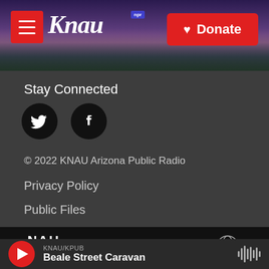[Figure (logo): KNAU NPR radio station header with purple mountain background, red menu button, KNAU logo in white italic serif font with NPR badge, and red Donate button]
Stay Connected
[Figure (illustration): Two black circular social media icons: Twitter bird icon and Facebook f icon]
© 2022 KNAU Arizona Public Radio
Privacy Policy
Public Files
[Figure (logo): Footer logos on black background: NAU Northern Arizona University logo, NPR bracketed logo, and PRI globe logo]
KNAU/KPUB Beale Street Caravan